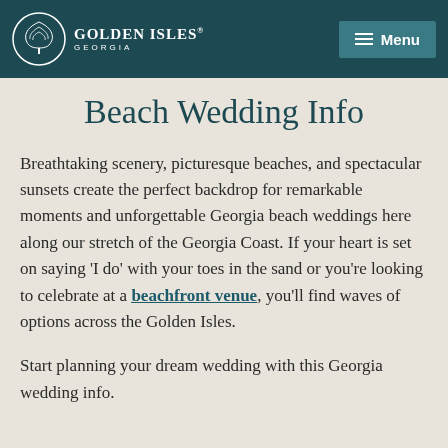Golden Isles Georgia — Menu
Beach Wedding Info
Breathtaking scenery, picturesque beaches, and spectacular sunsets create the perfect backdrop for remarkable moments and unforgettable Georgia beach weddings here along our stretch of the Georgia Coast. If your heart is set on saying 'I do' with your toes in the sand or you're looking to celebrate at a beachfront venue, you'll find waves of options across the Golden Isles.
Start planning your dream wedding with this Georgia wedding info.